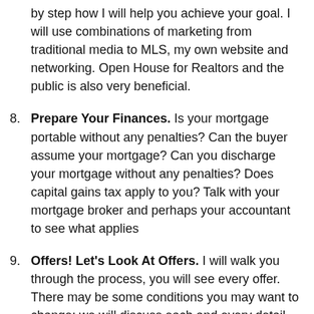by step how I will help you achieve your goal. I will use combinations of marketing from traditional media to MLS, my own website and networking. Open House for Realtors and the public is also very beneficial.
8. Prepare Your Finances. Is your mortgage portable without any penalties? Can the buyer assume your mortgage? Can you discharge your mortgage without any penalties? Does capital gains tax apply to you? Talk with your mortgage broker and perhaps your accountant to see what applies
9. Offers! Let's Look At Offers. I will walk you through the process, you will see every offer. There may be some conditions you may want to change; we will discuss each and every detail. This is one of the most important tasks and reasons you have hired me, the negotiation skills. Don't be offended if your offer is